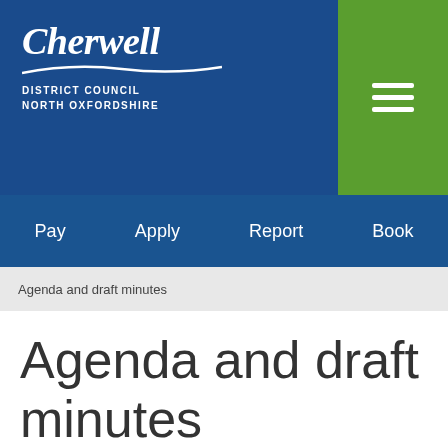[Figure (logo): Cherwell District Council North Oxfordshire logo with white text on dark blue background, swoosh decoration beneath the Cherwell wordmark]
[Figure (other): Green hamburger/menu icon (three horizontal white lines on green background) in top right of header]
Pay   Apply   Report   Book
Agenda and draft minutes
Agenda and draft minutes